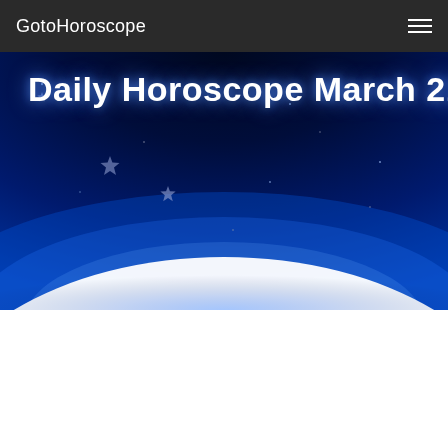GotoHoroscope
[Figure (illustration): Night sky hero banner with deep blue-to-black gradient background, stars scattered, and a bright glowing horizon line curving across the lower portion creating a planet/Earth view effect. Text overlay reads 'Daily Horoscope March 21'.]
Daily Horoscope March 21